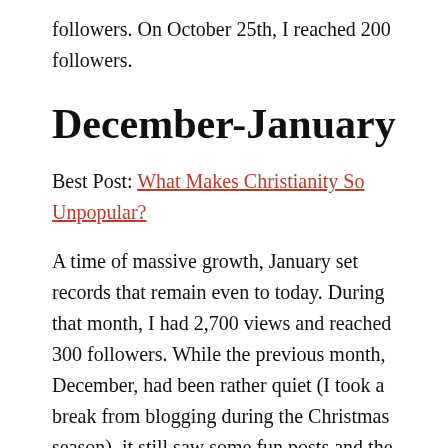followers. On October 25th, I reached 200 followers.
December-January
Best Post: What Makes Christianity So Unpopular?
A time of massive growth, January set records that remain even to today. During that month, I had 2,700 views and reached 300 followers. While the previous month, December, had been rather quiet (I took a break from blogging during the Christmas season), it still saw some fun posts and the beginning of my Throwback posts, which are still in use. I began trying to publish posts over